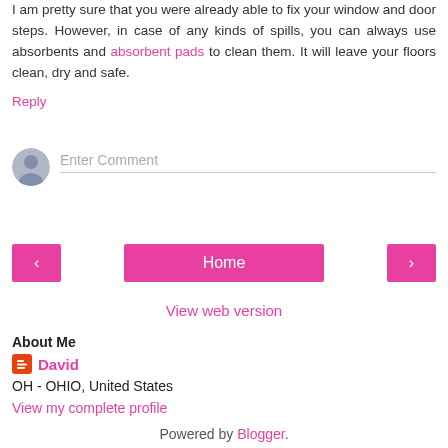I am pretty sure that you were already able to fix your window and door steps. However, in case of any kinds of spills, you can always use absorbents and absorbent pads to clean them. It will leave your floors clean, dry and safe.
Reply
[Figure (other): Comment input field with user avatar icon and 'Enter Comment' placeholder text]
[Figure (other): Navigation bar with left arrow button, Home button, and right arrow button, all in pink/magenta color]
View web version
About Me
David
OH - OHIO, United States
View my complete profile
Powered by Blogger.